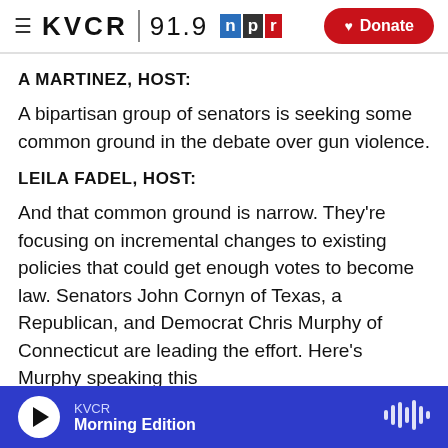KVCR 91.9 NPR Donate
A MARTINEZ, HOST:
A bipartisan group of senators is seeking some common ground in the debate over gun violence.
LEILA FADEL, HOST:
And that common ground is narrow. They're focusing on incremental changes to existing policies that could get enough votes to become law. Senators John Cornyn of Texas, a Republican, and Democrat Chris Murphy of Connecticut are leading the effort. Here's Murphy speaking this
KVCR  Morning Edition